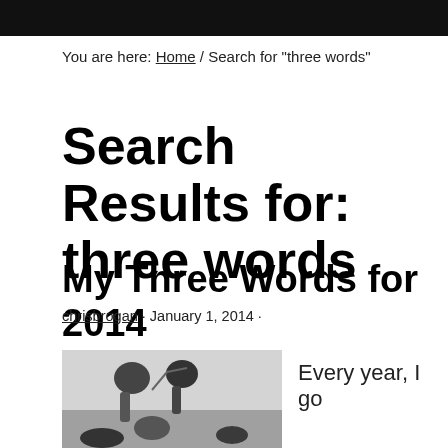You are here: Home / Search for "three words"
Search Results for: three words
My Three Words for 2014
chrisbrogan · January 1, 2014 ·
[Figure (photo): Black and white photo of figures with equipment outdoors]
Every year, I go